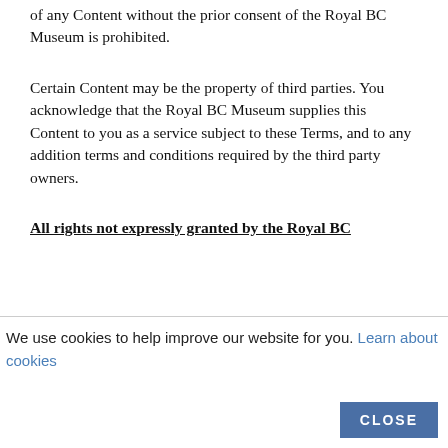of any Content without the prior consent of the Royal BC Museum is prohibited.
Certain Content may be the property of third parties. You acknowledge that the Royal BC Museum supplies this Content to you as a service subject to these Terms, and to any addition terms and conditions required by the third party owners.
All rights not expressly granted by the Royal BC
We use cookies to help improve our website for you. Learn about cookies